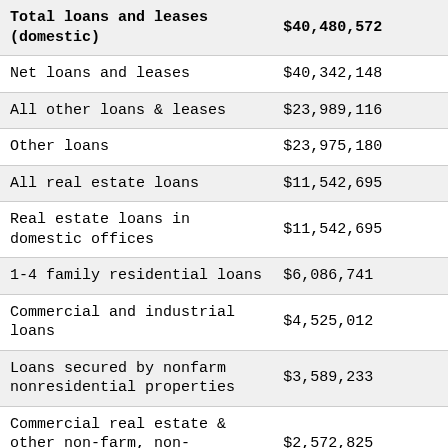| Category | Amount |
| --- | --- |
| Total loans and leases (domestic) | $40,480,572 |
| Net loans and leases | $40,342,148 |
| All other loans & leases | $23,989,116 |
| Other loans | $23,975,180 |
| All real estate loans | $11,542,695 |
| Real estate loans in domestic offices | $11,542,695 |
| 1-4 family residential loans | $6,086,741 |
| Commercial and industrial loans | $4,525,012 |
| Loans secured by nonfarm nonresidential properties | $3,589,233 |
| Commercial real estate & other non-farm, non-residential | $2,572,825 |